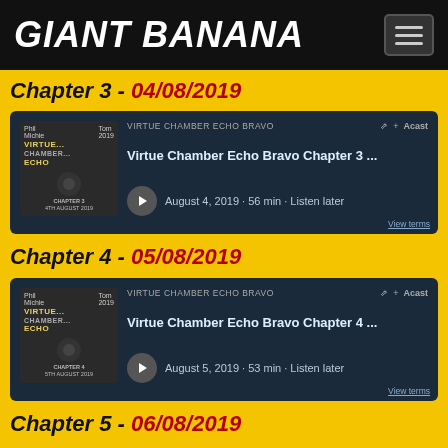GIANT BANANA
Chapter 3 - 04/08/2019
[Figure (screenshot): Acast podcast embed card for Virtue Chamber Echo Bravo Chapter 3, August 4 2019, 56 min, Listen later]
Chapter 4 - 05/08/2019
[Figure (screenshot): Acast podcast embed card for Virtue Chamber Echo Bravo Chapter 4, August 5 2019, 53 min, Listen later]
Chapter 5 - 06/08/2019